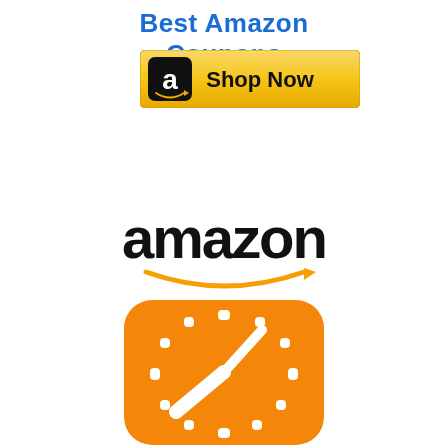Best Amazon Coupons
[Figure (logo): Amazon 'Shop Now' button with Amazon logo 'a' icon on black square, gold gradient background]
[Figure (logo): Amazon logo in black bold font with orange arrow/smile underneath]
[Figure (logo): Orange rounded square icon with white clock hands and tick marks representing a countdown/timer]